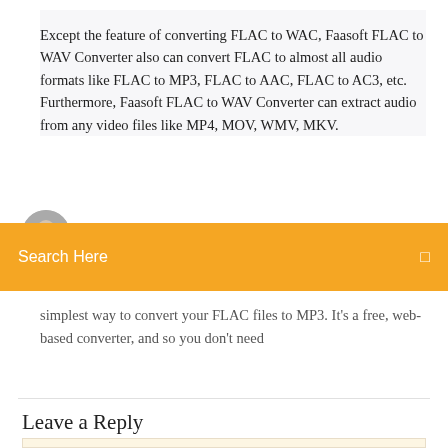Except the feature of converting FLAC to WAC, Faasoft FLAC to WAV Converter also can convert FLAC to almost all audio formats like FLAC to MP3, FLAC to AAC, FLAC to AC3, etc. Furthermore, Faasoft FLAC to WAV Converter can extract audio from any video files like MP4, MOV, WMV, MKV.
[Figure (photo): Avatar/profile photo partially visible at lower left of text block]
Search Here
simplest way to convert your FLAC files to MP3. It's a free, web-based converter, and so you don't need
Leave a Reply